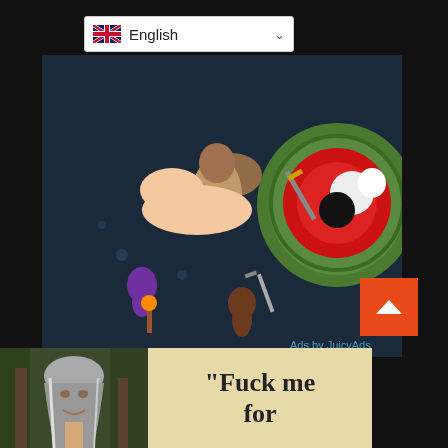[Figure (other): Language selector dropdown showing UK flag and 'English' text with chevron]
[Figure (illustration): Animated/cartoon style adult illustration with characters in a dark fantasy scene. Text watermark reads 'Ads by JuicyAds']
[Figure (photo): Photo of a woman with long gray-streaked hair outdoors among trees]
[Figure (illustration): Advertisement banner with text: "Fuck me for"]
[Figure (other): Orange scroll-to-top button with upward chevron arrow]